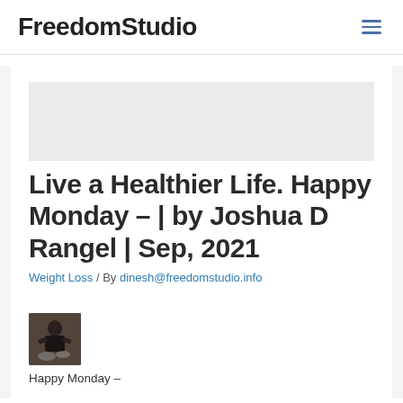FreedomStudio
Live a Healthier Life. Happy Monday – | by Joshua D Rangel | Sep, 2021
Weight Loss / By dinesh@freedomstudio.info
[Figure (photo): Small author photo thumbnail showing a person at a drum set, dark tones]
Happy Monday –